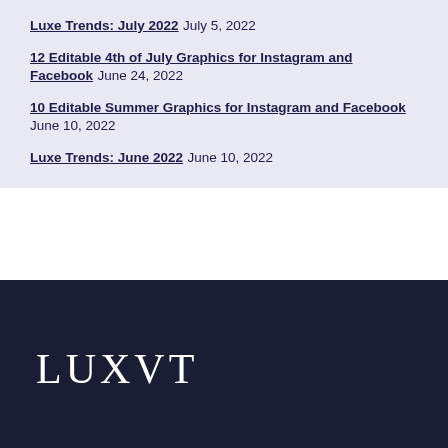Luxe Trends: July 2022 July 5, 2022
12 Editable 4th of July Graphics for Instagram and Facebook June 24, 2022
10 Editable Summer Graphics for Instagram and Facebook June 10, 2022
Luxe Trends: June 2022 June 10, 2022
LUXVT